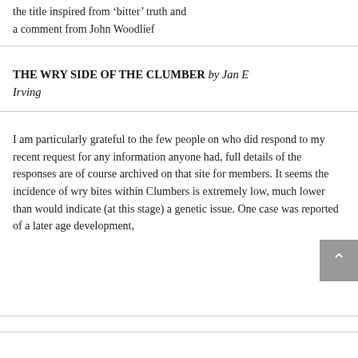the title inspired from 'bitter' truth and a comment from John Woodlief
THE WRY SIDE OF THE CLUMBER by Jan E Irving
I am particularly grateful to the few people on who did respond to my recent request for any information anyone had, full details of the responses are of course archived on that site for members. It seems the incidence of wry bites within Clumbers is extremely low, much lower than would indicate (at this stage) a genetic issue. One case was reported of a later age development,